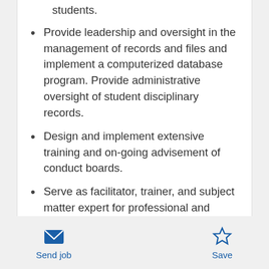students.
Provide leadership and oversight in the management of records and files and implement a computerized database program. Provide administrative oversight of student disciplinary records.
Design and implement extensive training and on-going advisement of conduct boards.
Serve as facilitator, trainer, and subject matter expert for professional and graduate staff development.
Act as liaison to internal and external
Send job   Save